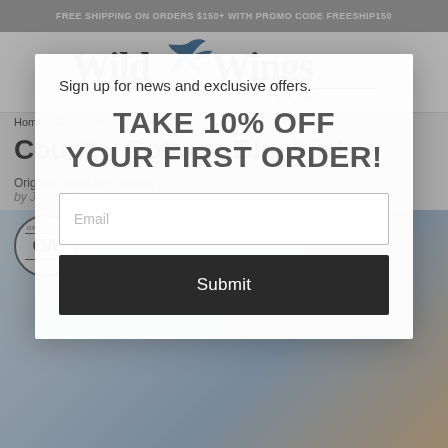FREE SHIPPING ON ORDERS $150+ WITH PROMO CODE FREESHIP150
[Figure (logo): Wild Wings Est. 1968 logo with bird silhouette]
Home / All / Country Cottage—Bluebirds
Country Cottage Bluebirds
Original Gouache Painting by Janene Grende
[Figure (photo): Colorful painting of bluebirds at a country cottage with flowers]
Sign up for news and exclusive offers.
TAKE 10% OFF YOUR FIRST ORDER!
Email
Submit